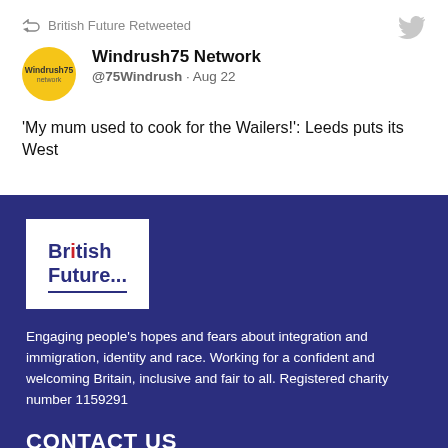British Future Retweeted
[Figure (screenshot): Tweet from Windrush75 Network (@75Windrush) dated Aug 22 with avatar showing Windrush75 network logo on yellow background]
Windrush75 Network @75Windrush · Aug 22
'My mum used to cook for the Wailers!': Leeds puts its West
[Figure (logo): British Future logo - white box with British Future... text in dark blue with red dot on i]
Engaging people's hopes and fears about integration and immigration, identity and race. Working for a confident and welcoming Britain, inclusive and fair to all. Registered charity number 1159291
CONTACT US